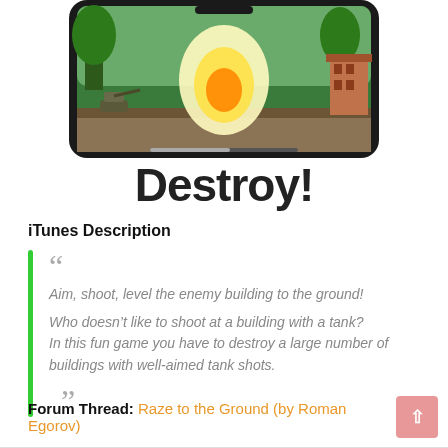[Figure (screenshot): Mobile phone mockup showing a 2D side-scrolling tank game with trees, fire explosion, and a building on the right]
Destroy!
iTunes Description
Aim, shoot, level the enemy building to the ground!

Who doesn't like to shoot at a building with a tank? In this fun game you have to destroy a large number of buildings with well-aimed tank shots.
Forum Thread: Raze to the Ground (by Roman Egorov)